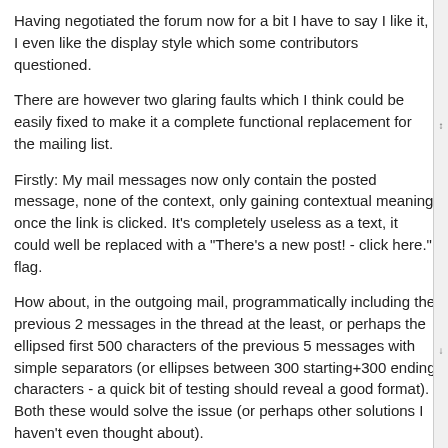Having negotiated the forum now for a bit I have to say I like it, I even like the display style which some contributors questioned.
There are however two glaring faults which I think could be easily fixed to make it a complete functional replacement for the mailing list.
Firstly: My mail messages now only contain the posted message, none of the context, only gaining contextual meaning once the link is clicked. It's completely useless as a text, it could well be replaced with a "There's a new post! - click here." flag.
How about, in the outgoing mail, programmatically including the previous 2 messages in the thread at the least, or perhaps the ellipsed first 500 characters of the previous 5 messages with simple separators (or ellipses between 300 starting+300 ending characters - a quick bit of testing should reveal a good format). Both these would solve the issue (or perhaps other solutions I haven't even thought about).
Secondly, frustratingly I am all for freedom and allowing anonymous posting, but it makes it very hard to establish weight to a post. Sometimes I see posted solutions from Anonymous people, which may or may not be good